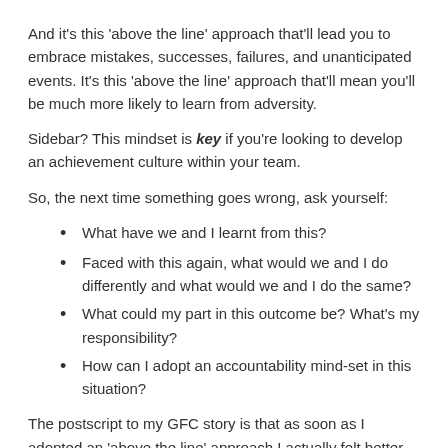And it's this 'above the line' approach that'll lead you to embrace mistakes, successes, failures, and unanticipated events. It's this 'above the line' approach that'll mean you'll be much more likely to learn from adversity.
Sidebar? This mindset is key if you're looking to develop an achievement culture within your team.
So, the next time something goes wrong, ask yourself:
What have we and I learnt from this?
Faced with this again, what would we and I do differently and what would we and I do the same?
What could my part in this outcome be? What's my responsibility?
How can I adopt an accountability mind-set in this situation?
The postscript to my GFC story is that as soon as I adopted an 'above the line' approach I actually felt better, focused on what WAS within my control and switched into problem-solving mode with my team. I found by doing this, we not only weathered the storm, we became a stronger more resourceful team because of it.
So my challenge to you this week is to stay 'above the line'. Walk the